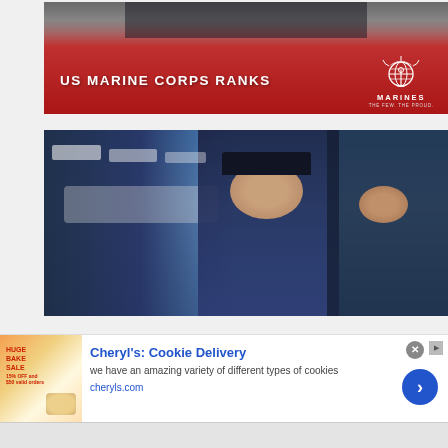[Figure (photo): US Marine Corps Ranks banner with red background showing Marines in dress uniform, with Marines Eagle Globe and Anchor logo and tagline 'THE FEW. THE PROUD.']
[Figure (photo): Military officer in dark blue Air Force dress uniform saluting, wearing decorated cap with rank insignia, with rows of saluting personnel in background against blue sky]
Cheryl's: Cookie Delivery
we have an amazing variety of different types of cookies
cheryls.com